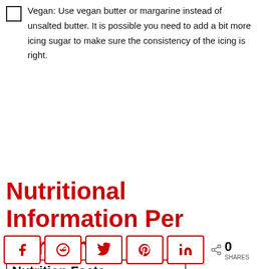Vegan: Use vegan butter or margarine instead of unsalted butter. It is possible you need to add a bit more icing sugar to make sure the consistency of the icing is right.
Nutritional Information Per Portion
| Nutrition Facts |  |
| --- | --- |
| Blackberry Frosting |  |
| Amount Per Serving |  |
| Calories 174 | Calories from Fat 63 |
|  | % Daily Value* |